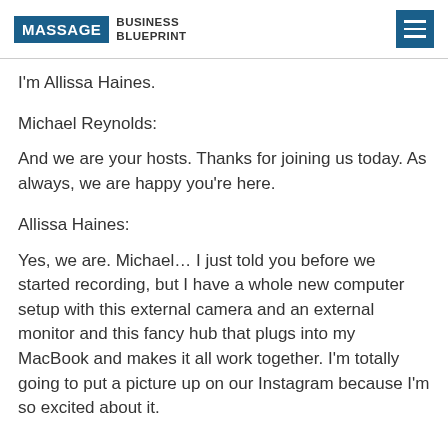MASSAGE BUSINESS BLUEPRINT
I'm Allissa Haines.
Michael Reynolds:
And we are your hosts. Thanks for joining us today. As always, we are happy you're here.
Allissa Haines:
Yes, we are. Michael… I just told you before we started recording, but I have a whole new computer setup with this external camera and an external monitor and this fancy hub that plugs into my MacBook and makes it all work together. I'm totally going to put a picture up on our Instagram because I'm so excited about it.